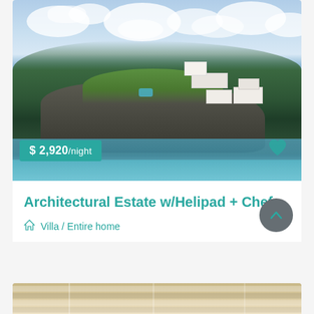[Figure (photo): Aerial photograph of a coastal architectural estate on a rocky peninsula surrounded by turquoise ocean water with clouds in the sky]
$ 2,920 /night
Architectural Estate w/Helipad + Chef
Villa / Entire home
[Figure (photo): Partially visible interior photo at the bottom of the page showing ceiling/slat detail]